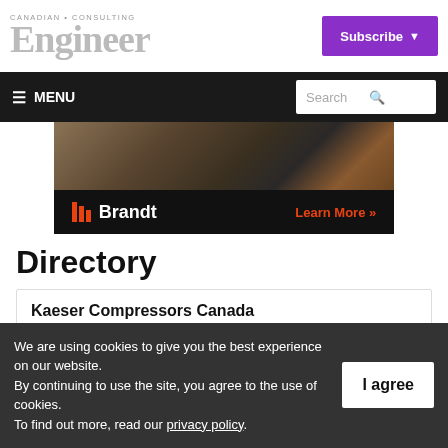CANADIAN CONSULTING Engineer — Subscribe
MENU | Search
[Figure (photo): Brandt advertisement banner with industrial equipment photo and 'Learn More' call to action]
Directory
Kaeser Compressors Canada
Boisbriand, QC
We are using cookies to give you the best experience on our website. By continuing to use the site, you agree to the use of cookies. To find out more, read our privacy policy.